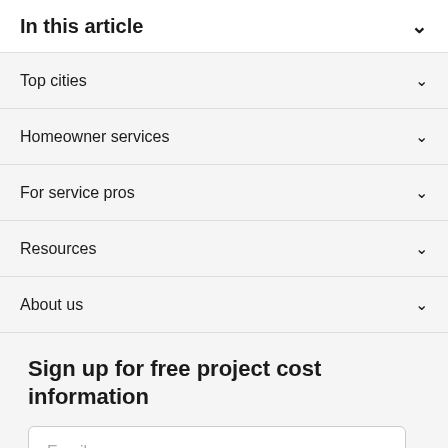In this article
Top cities
Homeowner services
For service pros
Resources
About us
Sign up for free project cost information
Email